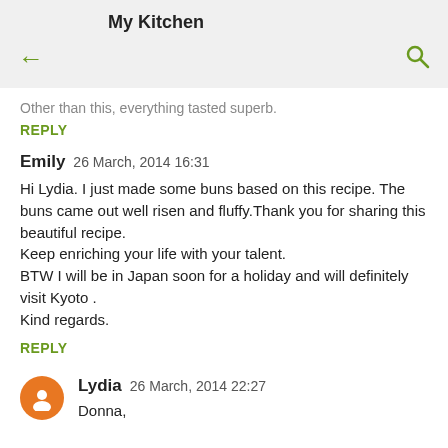My Kitchen
Other than this, everything tasted superb.
REPLY
Emily  26 March, 2014 16:31
Hi Lydia. I just made some buns based on this recipe. The buns came out well risen and fluffy.Thank you for sharing this beautiful recipe.
Keep enriching your life with your talent.
BTW I will be in Japan soon for a holiday and will definitely visit Kyoto .
Kind regards.
REPLY
Lydia  26 March, 2014 22:27
Donna,